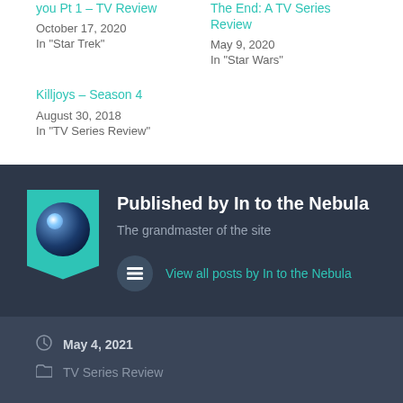you Pt 1 – TV Review
October 17, 2020
In "Star Trek"
The End: A TV Series Review
May 9, 2020
In "Star Wars"
Killjoys – Season 4
August 30, 2018
In "TV Series Review"
Published by In to the Nebula
The grandmaster of the site
View all posts by In to the Nebula
May 4, 2021
TV Series Review